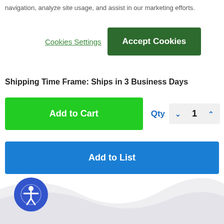navigation, analyze site usage, and assist in our marketing efforts.
Cookies Settings
Accept Cookies
Shipping Time Frame: Ships in 3 Business Days
Add to Cart
Qty 1
Add to List
[Figure (illustration): Accessibility icon button (blue circle with person figure)]